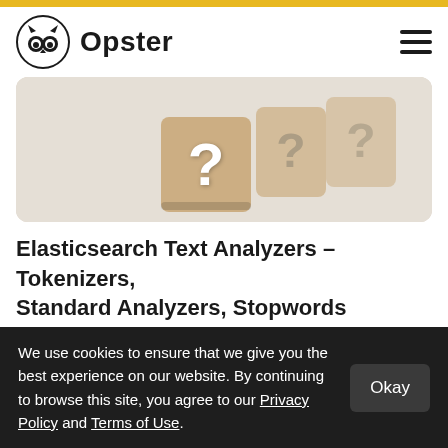Opster
[Figure (photo): Wooden blocks with question marks on a light background, showing three blocks with question marks in decreasing focus from foreground to background]
Elasticsearch Text Analyzers – Tokenizers, Standard Analyzers, Stopwords
[Figure (photo): Dark abstract image with golden radiating light streaks/rays, partially visible at bottom of page]
We use cookies to ensure that we give you the best experience on our website. By continuing to browse this site, you agree to our Privacy Policy and Terms of Use.